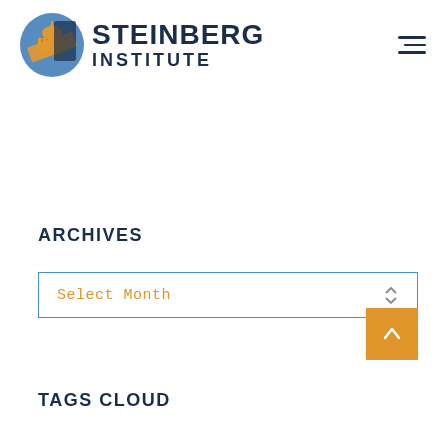[Figure (logo): Steinberg Institute logo with capitol building and diagonal banner graphic in blue and orange, beside bold navy text reading STEINBERG INSTITUTE]
ARCHIVES
Select Month
TAGS CLOUD